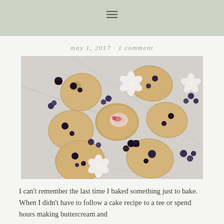≡
may 1, 2017 · 1 comment
[Figure (photo): Overhead flat-lay photograph of berry scones scattered on a white marble surface, surrounded by blueberries, blackberries, raspberries, and small white flowers.]
I can't remember the last time I baked something just to bake. When I didn't have to follow a cake recipe to a tee or spend hours making buttercream and